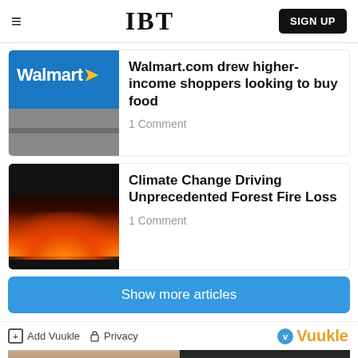IBT
Walmart.com drew higher-income shoppers looking to buy food
1 Comment
Climate Change Driving Unprecedented Forest Fire Loss
1 Comment
Show more articles
Add Vuukle  Privacy  Vuukle
[Figure (photo): Bottom image strip showing two photos side by side]